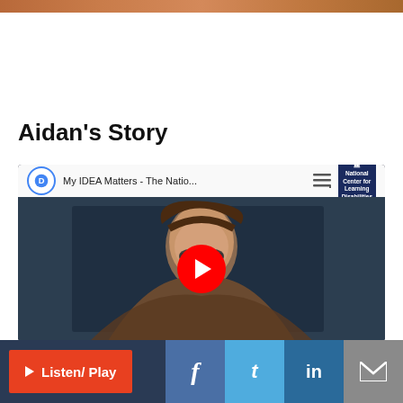[Figure (photo): Top portion of a photo, cropped at the top of the page]
Aidan's Story
[Figure (screenshot): YouTube video embed showing 'My IDEA Matters - The Natio...' with a young woman with glasses and long dark hair, a red YouTube play button overlay, and the National Center for Learning Disabilities logo in the top right corner]
Listen/ Play | Facebook | Twitter | LinkedIn | Email